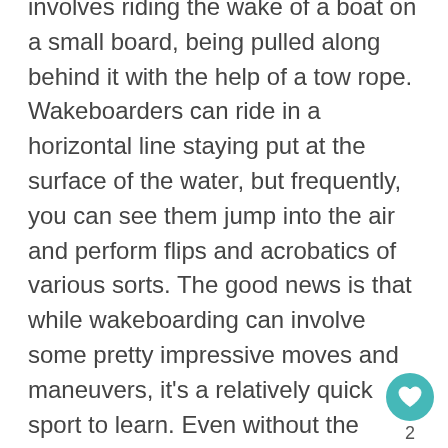involves riding the wake of a boat on a small board, being pulled along behind it with the help of a tow rope. Wakeboarders can ride in a horizontal line staying put at the surface of the water, but frequently, you can see them jump into the air and perform flips and acrobatics of various sorts. The good news is that while wakeboarding can involve some pretty impressive moves and maneuvers, it's a relatively quick sport to learn. Even without the tricks, it can be intense and exhilarating, so give it a go!
This guide will tell you everything you need to know about how it works, how to